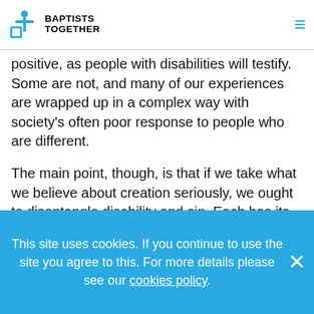Baptists Together
positive, as people with disabilities will testify. Some are not, and many of our experiences are wrapped up in a complex way with society's often poor response to people who are different.
The main point, though, is that if we take what we believe about creation seriously, we ought to disentangle disability and sin. Each has its own place in a creation that is full of risk, which is why it is so important that God is always accompanying and caring for his creation. That brings us back to the cross. At the cross God is for everyone. There, in Jesus, he deals with the whole human condition, and bears the cost of all
This site uses cookies. If you continue to use the site you agree to this. For more details please see our cookies policy.